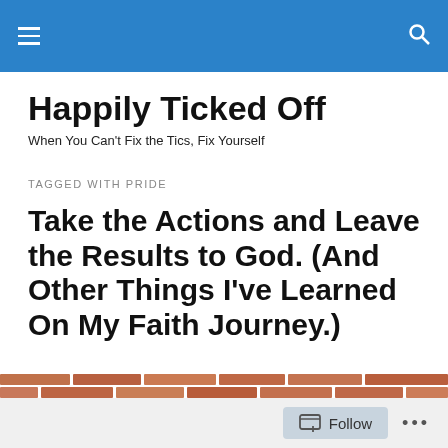Happily Ticked Off
When You Can't Fix the Tics, Fix Yourself
TAGGED WITH PRIDE
Take the Actions and Leave the Results to God. (And Other Things I've Learned On My Faith Journey.)
[Figure (photo): Partial view of a brick wall at the bottom of the page]
Follow